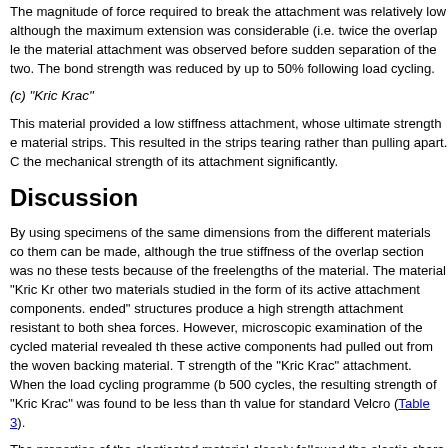The magnitude of force required to break the attachment was relatively low although the maximum extension was considerable (i.e. twice the overlap le the material attachment was observed before sudden separation of the two. The bond strength was reduced by up to 50% following load cycling.
(c) "Kric Krac"
This material provided a low stiffness attachment, whose ultimate strength e material strips. This resulted in the strips tearing rather than pulling apart. C the mechanical strength of its attachment significantly.
Discussion
By using specimens of the same dimensions from the different materials co them can be made, although the true stiffness of the overlap section was no these tests because of the freelengths of the material. The material "Kric Kr other two materials studied in the form of its active attachment components. ended" structures produce a high strength attachment resistant to both shea forces. However, microscopic examination of the cycled material revealed th these active components had pulled out from the woven backing material. T strength of the "Kric Krac" attachment. When the load cycling programme (b 500 cycles, the resulting strength of "Kric Krac" was found to be less than th value for standard Velcro (Table 3).
The properties of the elasticated material closely followed the elastic chara separate material strips indicating that the stiffness of the specimens is not entanglement of the active elements.
The low value for peel strength is generally an advantage enabling easy re